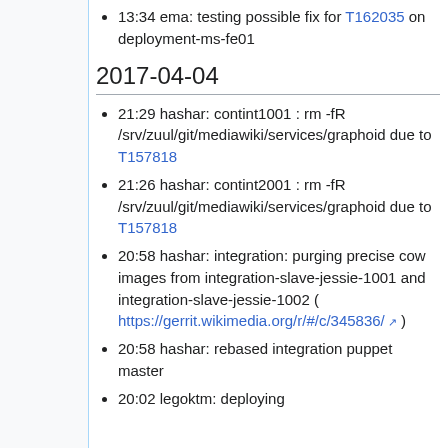13:34 ema: testing possible fix for T162035 on deployment-ms-fe01
2017-04-04
21:29 hashar: contint1001 : rm -fR /srv/zuul/git/mediawiki/services/graphoid due to T157818
21:26 hashar: contint2001 : rm -fR /srv/zuul/git/mediawiki/services/graphoid due to T157818
20:58 hashar: integration: purging precise cow images from integration-slave-jessie-1001 and integration-slave-jessie-1002 ( https://gerrit.wikimedia.org/r/#/c/345836/ )
20:58 hashar: rebased integration puppet master
20:02 legoktm: deploying